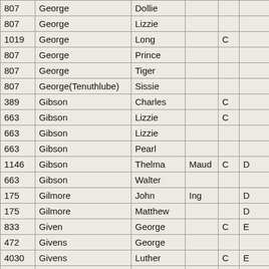| [ID] | [Last Name] | [First Name] | [Middle] | [Col5] | [Col6] |
| --- | --- | --- | --- | --- | --- |
| 807 | George | Dollie |  |  |  |
| 807 | George | Lizzie |  |  |  |
| 1019 | George | Long |  | C |  |
| 807 | George | Prince |  |  |  |
| 807 | George | Tiger |  |  |  |
| 807 | George(Tenuthlube) | Sissie |  |  |  |
| 389 | Gibson | Charles |  | C |  |
| 663 | Gibson | Lizzie |  | C |  |
| 663 | Gibson | Lizzie |  |  |  |
| 663 | Gibson | Pearl |  |  |  |
| 1146 | Gibson | Thelma | Maud | C | D |
| 663 | Gibson | Walter |  |  |  |
| 175 | Gilmore | John | Ing |  | D |
| 175 | Gilmore | Matthew |  |  | D |
| 833 | Given | George |  | C | E |
| 472 | Givens | George |  |  |  |
| 4030 | Givens | Luther |  | C | E |
| 1043 | Glass | Kid |  | F | E |
| 644 | Glassco | Ada |  | F |  |
| 644 | Glassco | Ellen |  | F |  |